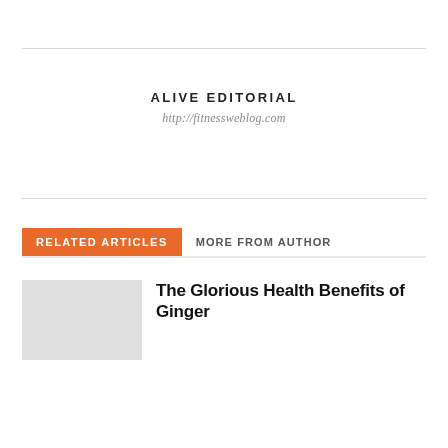ALIVE EDITORIAL
http://fitnessweblog.com
RELATED ARTICLES   MORE FROM AUTHOR
The Glorious Health Benefits of Ginger